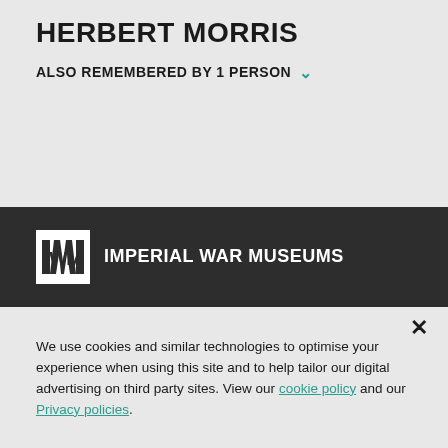HERBERT MORRIS
ALSO REMEMBERED BY 1 PERSON
[Figure (logo): IWM Imperial War Museums logo — white IWM letters in a white box on dark background, followed by text IMPERIAL WAR MUSEUMS in white]
We use cookies and similar technologies to optimise your experience when using this site and to help tailor our digital advertising on third party sites. View our cookie policy and our Privacy policies.